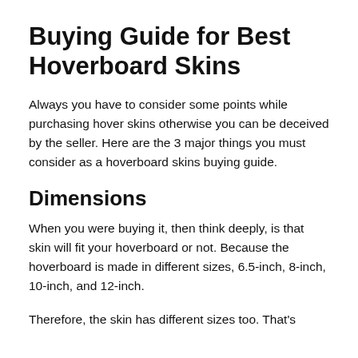Buying Guide for Best Hoverboard Skins
Always you have to consider some points while purchasing hover skins otherwise you can be deceived by the seller. Here are the 3 major things you must consider as a hoverboard skins buying guide.
Dimensions
When you were buying it, then think deeply, is that skin will fit your hoverboard or not. Because the hoverboard is made in different sizes, 6.5-inch, 8-inch, 10-inch, and 12-inch.
Therefore, the skin has different sizes too. That's